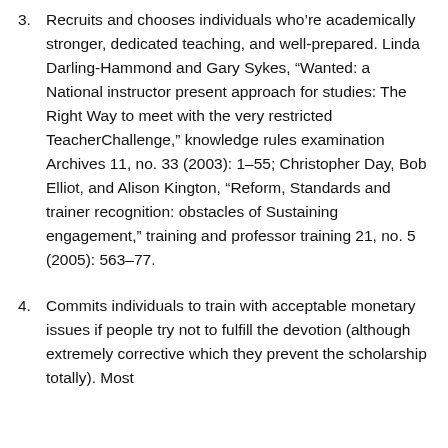3. Recruits and chooses individuals who're academically stronger, dedicated teaching, and well-prepared. Linda Darling-Hammond and Gary Sykes, “Wanted: a National instructor present approach for studies: The Right Way to meet with the very restricted TeacherChallenge,” knowledge rules examination Archives 11, no. 33 (2003): 1–55; Christopher Day, Bob Elliot, and Alison Kington, “Reform, Standards and trainer recognition: obstacles of Sustaining engagement,” training and professor training 21, no. 5 (2005): 563–77.
4. Commits individuals to train with acceptable monetary issues if people try not to fulfill the devotion (although extremely corrective which they prevent the scholarship totally). Most